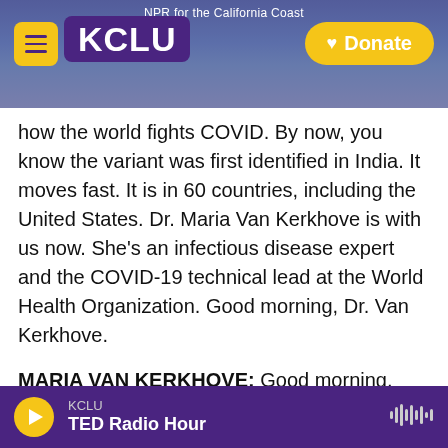NPR for the California Coast — KCLU — Donate
how the world fights COVID. By now, you know the variant was first identified in India. It moves fast. It is in 60 countries, including the United States. Dr. Maria Van Kerkhove is with us now. She's an infectious disease expert and the COVID-19 technical lead at the World Health Organization. Good morning, Dr. Van Kerkhove.
MARIA VAN KERKHOVE: Good morning, Noel. Thanks for having me.
KING: We're very pleased to have you. So last week, the WHO said fully vaccinated people should
KCLU — TED Radio Hour